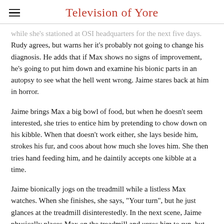Television of Yore
while she's stationed at OSI headquarters for the next five days. Rudy agrees, but warns her it's probably not going to change his diagnosis. He adds that if Max shows no signs of improvement, he's going to put him down and examine his bionic parts in an autopsy to see what the hell went wrong. Jaime stares back at him in horror.
Jaime brings Max a big bowl of food, but when he doesn't seem interested, she tries to entice him by pretending to chow down on his kibble. When that doesn't work either, she lays beside him, strokes his fur, and coos about how much she loves him. She then tries hand feeding him, and he daintily accepts one kibble at a time.
Jaime bionically jogs on the treadmill while a listless Max watches. When she finishes, she says, "Your turn", but he just glances at the treadmill disinterestedly. In the next scene, Jaime physically places Max on the treadmill and urges him to run, but